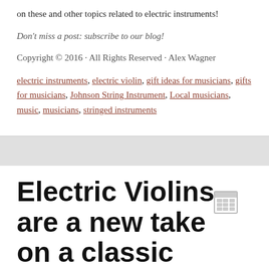on these and other topics related to electric instruments!
Don't miss a post: subscribe to our blog!
Copyright © 2016 · All Rights Reserved · Alex Wagner
electric instruments, electric violin, gift ideas for musicians, gifts for musicians, Johnson String Instrument, Local musicians, music, musicians, stringed instruments
Electric Violins are a new take on a classic instrument
15. Mar   Electric Instruments   No Comments